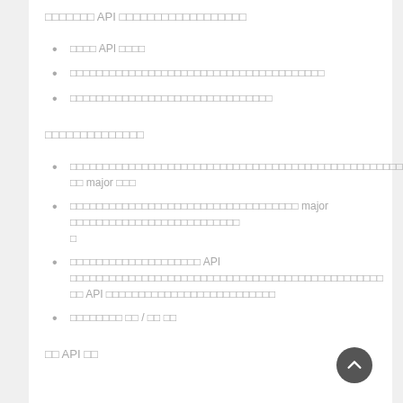xxxxxxx API xxxxxxxxxxxxxxxxxxxxx
xxxx API xxxx
xxxxxxxxxxxxxxxxxxxxxxxxxxxxxxxxxxxxxxx
xxxxxxxxxxxxxxxxxxxxxxxxxxxxxx
xxxxxxxxxxxxxx
xxxxxxxxxxxxxxxxxxxxxxxxxxxxxxxxxxxxxxxxxxxxxxxxxxxxxxxxxxxxxxxxxxxxxxxx xx major xxx
xxxxxxxxxxxxxxxxxxxxxxxxxxxxxxxxxx major xxxxxxxxxxxxxxxxxxxxxxxxxx x
xxxxxxxxxxxxxxxxxxxx API xxxxxxxxxxxxxxxxxxxxxxxxxxxxxxxxxxxxxxxxxx xx API xxxxxxxxxxxxxxxxxxxxxxxxxx
xxxxxxxx xx / xx xx
xx API xx